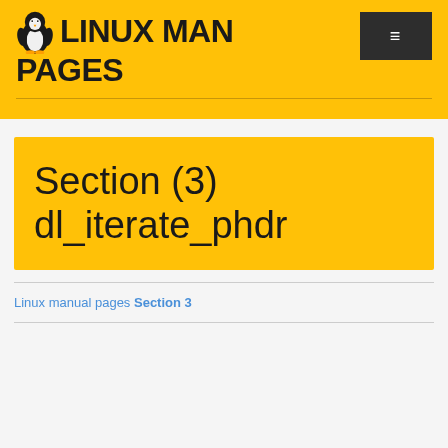LINUX MAN PAGES
Section (3) dl_iterate_phdr
Linux manual pages Section 3